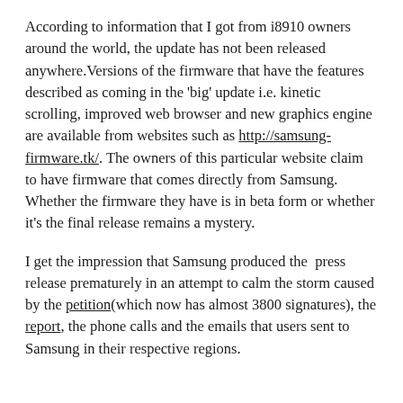According to information that I got from i8910 owners around the world, the update has not been released anywhere.Versions of the firmware that have the features described as coming in the 'big' update i.e. kinetic scrolling, improved web browser and new graphics engine are available from websites such as http://samsung-firmware.tk/. The owners of this particular website claim to have firmware that comes directly from Samsung. Whether the firmware they have is in beta form or whether it's the final release remains a mystery.
I get the impression that Samsung produced the press release prematurely in an attempt to calm the storm caused by the petition(which now has almost 3800 signatures), the report, the phone calls and the emails that users sent to Samsung in their respective regions.